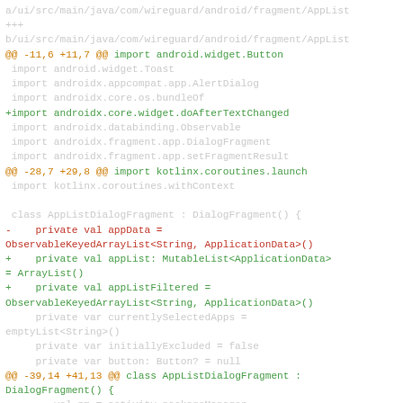a/ui/src/main/java/com/wireguard/android/fragment/AppList
+++
b/ui/src/main/java/com/wireguard/android/fragment/AppList
@@ -11,6 +11,7 @@ import android.widget.Button
 import android.widget.Toast
 import androidx.appcompat.app.AlertDialog
 import androidx.core.os.bundleOf
+import androidx.core.widget.doAfterTextChanged
 import androidx.databinding.Observable
 import androidx.fragment.app.DialogFragment
 import androidx.fragment.app.setFragmentResult
@@ -28,7 +29,8 @@ import kotlinx.coroutines.launch
 import kotlinx.coroutines.withContext

 class AppListDialogFragment : DialogFragment() {
-    private val appData =
ObservableKeyedArrayList<String, ApplicationData>()
+    private val appList: MutableList<ApplicationData>
= ArrayList()
+    private val appListFiltered =
ObservableKeyedArrayList<String, ApplicationData>()
     private var currentlySelectedApps =
emptyList<String>()
     private var initiallyExcluded = false
     private var button: Button? = null
@@ -39,14 +41,13 @@ class AppListDialogFragment :
DialogFragment() {
         val pm = activity.packageManager
         lifecycleScope.launch(Dispatchers.Default) {
             try {